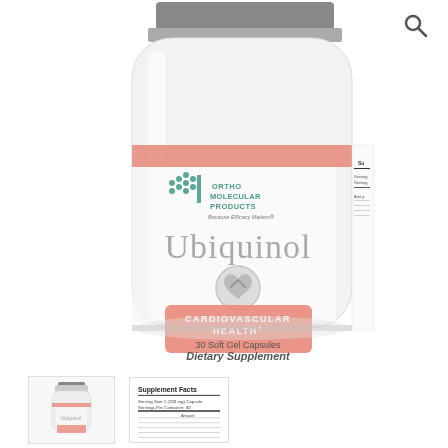[Figure (photo): Ortho Molecular Products Ubiquinol supplement bottle - white plastic bottle with salmon/pink label band. Label shows brand logo, product name 'Ubiquinol', heart icon, 'CARDIOVASCULAR HEALTH' banner, '30 Soft Gel Capsules', 'Dietary Supplement'. Supplement Facts panel partially visible on right side.]
[Figure (photo): Thumbnail of Ubiquinol bottle front view - small product image]
[Figure (photo): Thumbnail of Supplement Facts panel label]